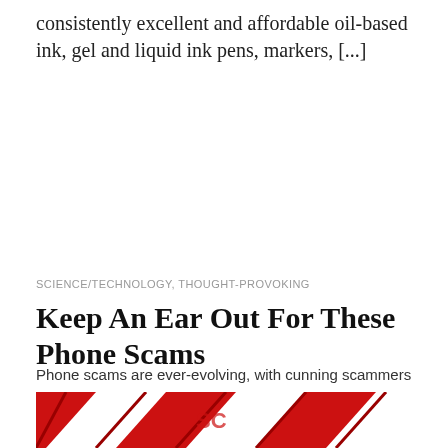consistently excellent and affordable oil-based ink, gel and liquid ink pens, markers, [...]
SCIENCE/TECHNOLOGY, THOUGHT-PROVOKING
Keep An Ear Out For These Phone Scams
Phone scams are ever-evolving, with cunning scammers constantly coming up with new ways to make you part with your money.
[Figure (photo): Red and white graphic image at the bottom of the page, partially visible, appearing to show overlapping angular shapes or signs in red and white.]